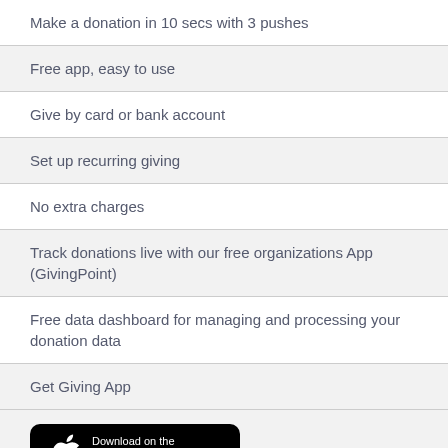Make a donation in 10 secs with 3 pushes
Free app, easy to use
Give by card or bank account
Set up recurring giving
No extra charges
Track donations live with our free organizations App (GivingPoint)
Free data dashboard for managing and processing your donation data
Get Giving App
[Figure (logo): Download on the App Store badge — black rounded rectangle with Apple logo and text 'Download on the App Store']